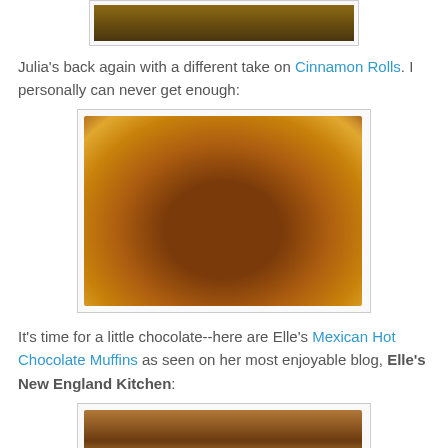[Figure (photo): Partial top of a photo, showing a wooden surface background]
Julia's back again with a different take on Cinnamon Rolls. I personally can never get enough:
[Figure (photo): Close-up photo of golden-brown cinnamon rolls on a white plate, showing spiral patterns with cinnamon filling]
It's time for a little chocolate--here are Elle's Mexican Hot Chocolate Muffins as seen on her most enjoyable blog, Elle's New England Kitchen:
[Figure (photo): Partial view of a photo showing what appears to be chocolate muffins]